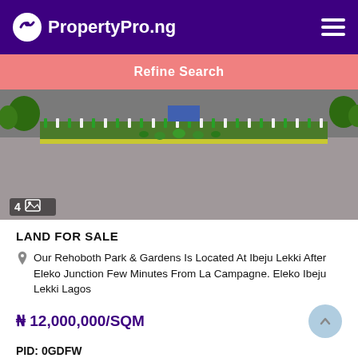PropertyPro.ng
Refine Search
[Figure (photo): Aerial view of a road and park area with green vegetation strips, showing Rehoboth Park & Gardens at Ibeju Lekki. Image count indicator showing 4 photos.]
LAND FOR SALE
Our Rehoboth Park & Gardens Is Located At Ibeju Lekki After Eleko Junction Few Minutes From La Campagne. Eleko Ibeju Lekki Lagos
₦ 12,000,000/SQM
PID: 0GDFW
0 beds   0 baths   0 Toilets